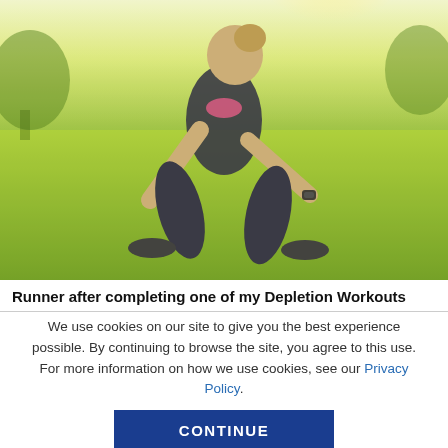[Figure (photo): A runner/athlete leaning forward catching their breath after a workout on a grassy field, wearing dark athletic wear and a fitness tracker, bright sunny day.]
Runner after completing one of my Depletion Workouts
We use cookies on our site to give you the best experience possible. By continuing to browse the site, you agree to this use. For more information on how we use cookies, see our Privacy Policy.
CONTINUE